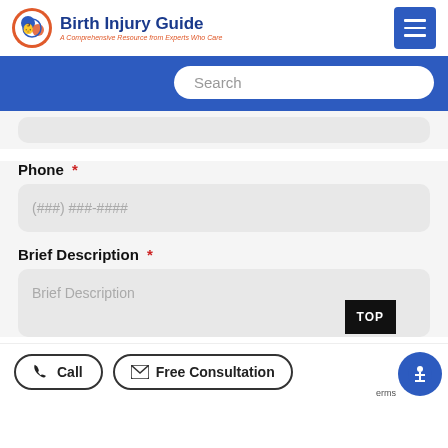[Figure (logo): Birth Injury Guide logo with circular icon showing mother and baby, blue text title, red italic subtitle 'A Comprehensive Resource from Experts Who Care']
Search
Phone *
(###) ###-####
Brief Description *
Brief Description
TOP
Call
Free Consultation